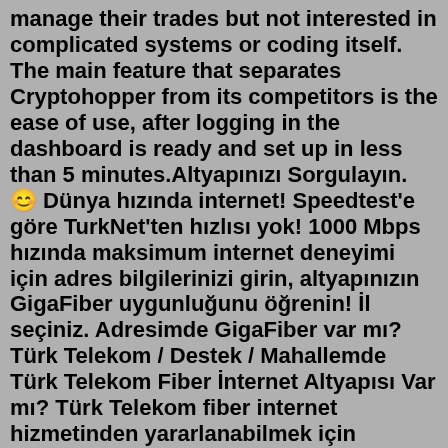manage their trades but not interested in complicated systems or coding itself. The main feature that separates Cryptohopper from its competitors is the ease of use, after logging in the dashboard is ready and set up in less than 5 minutes.Altyapınızı Sorgulayın. 🙂 Dünya hızında internet! Speedtest'e göre TurkNet'ten hızlısı yok! 1000 Mbps hızında maksimum internet deneyimi için adres bilgilerinizi girin, altyapınızın GigaFiber uygunluğunu öğrenin! İl seçiniz. Adresimde GigaFiber var mı? Türk Telekom / Destek / Mahallemde Türk Telekom Fiber İnternet Altyapısı Var mı? Türk Telekom fiber internet hizmetinden yararlanabilmek için bulunduğunuz bölgede belirli bir altyapı yeterliliği olması gerekir. Türkiye'nin birçok bölgesinde bu hizmetin sunulması için gerekli olan altyapı sistemi mevcuttur.Jan 17, 2022 · 17 Ocak 2022. #1. TurkNet'e abone olurken adresime GigaFiber hizmetinin geleceği söylenmişti. 1 ay önce falan Türk Telekom ekipleri gelip apartmana fiber çektiler. Türk Telekom veya TurkNet'ten altyapı sorguladığımda adresimde fiber internet var